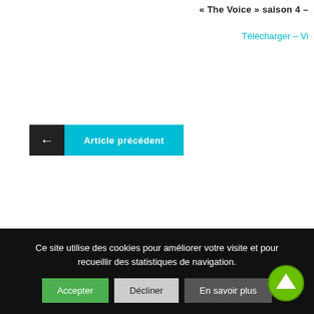« The Voice » saison 4 –
Télécharger – Vi
← Article précédent
Ce site utilise des cookies pour améliorer votre visite et pour recueillir des statistiques de navigation.
Accepter   Décliner   En savoir plus